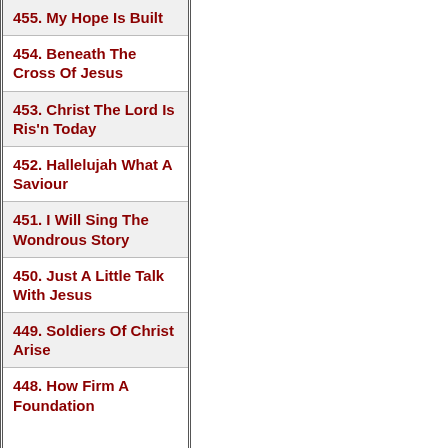455. My Hope Is Built
454. Beneath The Cross Of Jesus
453. Christ The Lord Is Ris'n Today
452. Hallelujah What A Saviour
451. I Will Sing The Wondrous Story
450. Just A Little Talk With Jesus
449. Soldiers Of Christ Arise
448. How Firm A Foundation